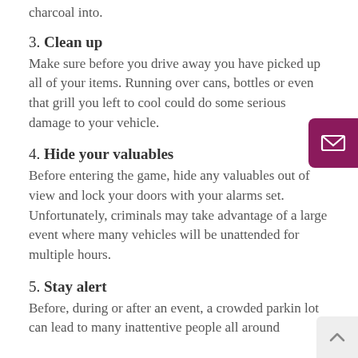charcoal into.
3. Clean up
Make sure before you drive away you have picked up all of your items. Running over cans, bottles or even that grill you left to cool could do some serious damage to your vehicle.
4. Hide your valuables
Before entering the game, hide any valuables out of view and lock your doors with your alarms set. Unfortunately, criminals may take advantage of a large event where many vehicles will be unattended for multiple hours.
5. Stay alert
Before, during or after an event, a crowded parking lot can lead to many inattentive people all around